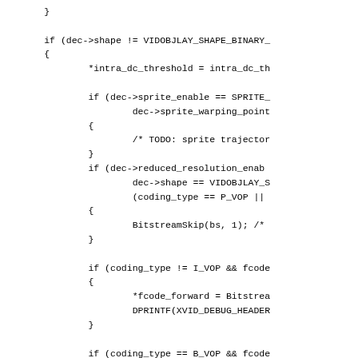Code snippet showing C source code with conditional blocks for video object layer decoding, including intra_dc_threshold, sprite_enable, reduced_resolution, fcode_forward, and fcode_backward assignments.